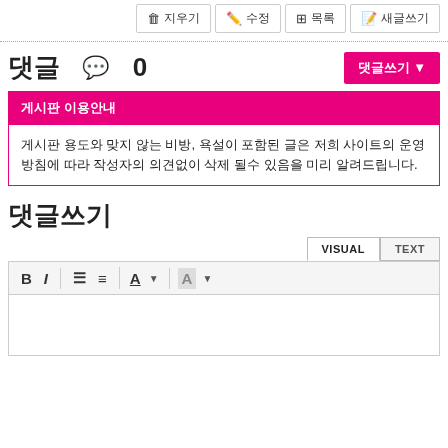[Figure (screenshot): Top action buttons: 지우기 (delete), 수정 (edit), 목록 (list), 새글쓰기 (new post)]
댓글 ◎ 0
[Figure (screenshot): 댓글쓰기 button (pink/magenta)]
게시판 이용안내
게시판 용도와 맞지 않는 비방, 욕설이 포함된 글은 저희 사이트의 운영 방침에 따라 작성자의 의견없이 삭제 될수 있음을 미리 알려드립니다.
댓글쓰기
[Figure (screenshot): Text editor toolbar with VISUAL/TEXT tabs and formatting buttons: B, I, list, ordered list, A (font color), A (background color)]